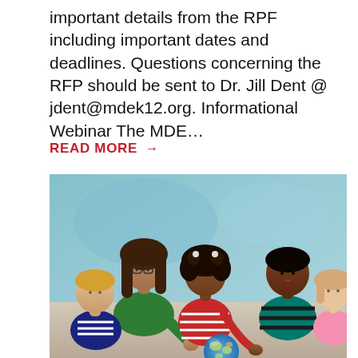important details from the RPF including important dates and deadlines. Questions concerning the RFP should be sent to Dr. Jill Dent @ jdent@mdek12.org. Informational Webinar The MDE…
READ MORE →
[Figure (photo): A teacher with glasses wearing a green top sits with a group of young children of diverse ethnicities who are gathered around and looking at a globe.]